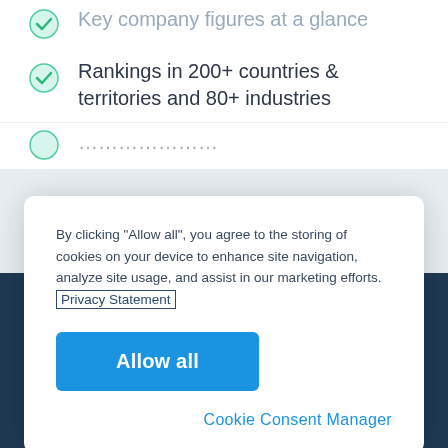Key company figures at a glance
Rankings in 200+ countries & territories and 80+ industries
By clicking “Allow all”, you agree to the storing of cookies on your device to enhance site navigation, analyze site usage, and assist in our marketing efforts. Privacy Statement
Allow all
Cookie Consent Manager
$350 / month *
billed annually
Order now